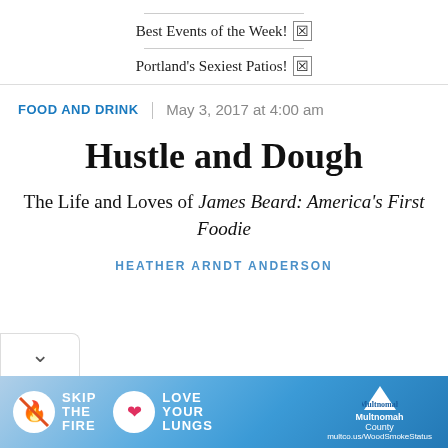Best Events of the Week! ☒
Portland's Sexiest Patios! ☒
FOOD AND DRINK | May 3, 2017 at 4:00 am
Hustle and Dough
The Life and Loves of James Beard: America's First Foodie
HEATHER ARNDT ANDERSON
[Figure (infographic): Advertisement banner for Multnomah County WoodSmoke Status with 'Skip The Fire, Love Your Lungs' text and icons, multco.us/WoodSmokeStatus URL]